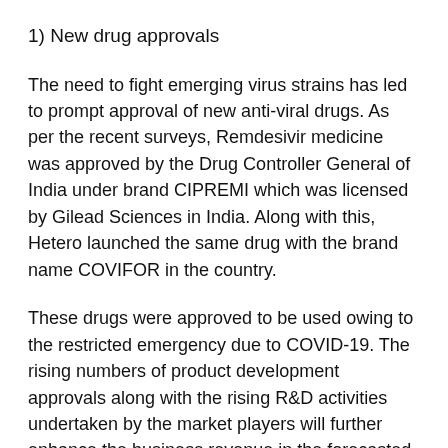1) New drug approvals
The need to fight emerging virus strains has led to prompt approval of new anti-viral drugs. As per the recent surveys, Remdesivir medicine was approved by the Drug Controller General of India under brand CIPREMI which was licensed by Gilead Sciences in India. Along with this, Hetero launched the same drug with the brand name COVIFOR in the country.
These drugs were approved to be used owing to the restricted emergency due to COVID-19. The rising numbers of product development approvals along with the rising R&D activities undertaken by the market players will further enhance the business revenue in the forecasted time.